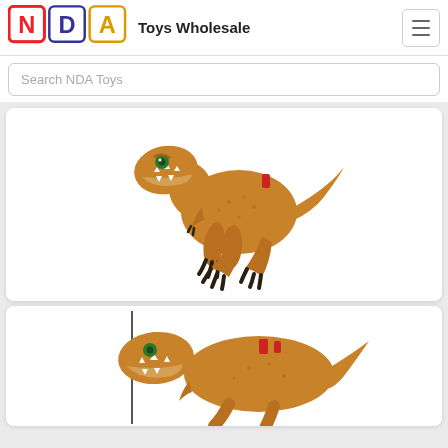Toys Wholesale
Search NDA Toys
[Figure (photo): Brown T-Rex dinosaur toy figure (Jurassic World style) standing on two legs with open mouth, green eye, dark claws, and a red accent on its back. Full body visible.]
[Figure (photo): Brown T-Rex dinosaur toy figure (Jurassic World style) shown from the side/front, with open jaw, orange/brown body, red accents, partially cropped at bottom. A thin vertical line/stand visible on left side.]